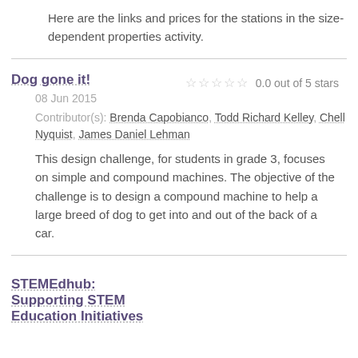Here are the links and prices for the stations in the size-dependent properties activity.
Dog gone it!
0.0 out of 5 stars
08 Jun 2015
Contributor(s): Brenda Capobianco, Todd Richard Kelley, Chell Nyquist, James Daniel Lehman
This design challenge, for students in grade 3, focuses on simple and compound machines. The objective of the challenge is to design a compound machine to help a large breed of dog to get into and out of the back of a car.
STEMEdhub: Supporting STEM Education Initiatives